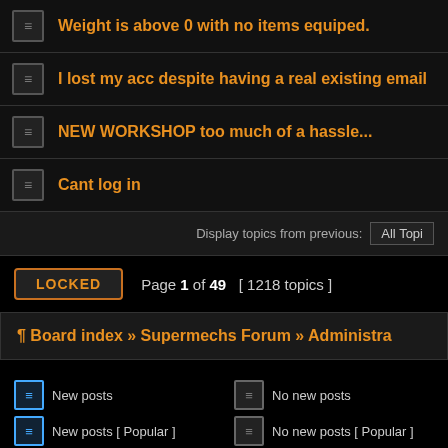Weight is above 0 with no items equiped.
I lost my acc despite having a real existing email
NEW WORKSHOP too much of a hassle...
Cant log in
Display topics from previous: All Topics
LOCKED  Page 1 of 49  [ 1218 topics ]
Board index » Supermechs Forum » Administra...
New posts   No new posts   Announcement
New posts [ Popular ]   No new posts [ Popular ]   Sticky
New posts [ Locked ]   No new posts [ Locked ]   Moved